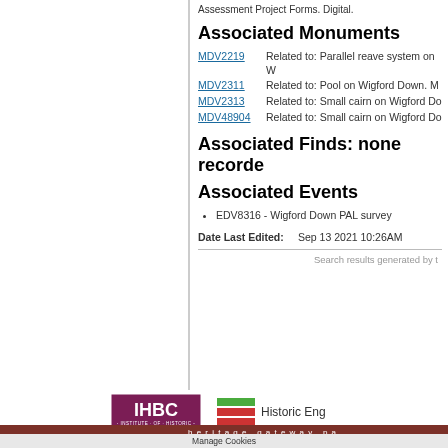Assessment Project Forms. Digital.
Associated Monuments
MDV2219   Related to: Parallel reave system on W…
MDV2311   Related to: Pool on Wigford Down. M…
MDV2313   Related to: Small cairn on Wigford Do…
MDV48904  Related to: Small cairn on Wigford Do…
Associated Finds: none recorded
Associated Events
EDV8316 - Wigford Down PAL survey
Date Last Edited:    Sep 13 2021 10:26AM
Search results generated by t…
[Figure (logo): IHBC Institute of Historic Building Conservation logo]
[Figure (logo): Historic England logo with colored wave bars]
heritage gateway pa…
Manage Cookies